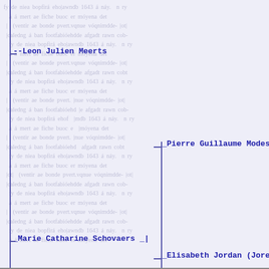--Leon Julien Meerts
_Pierre Guillaume Modes
_Marie Catharine Schovaers _|
_Elisabeth Jordan (Jore